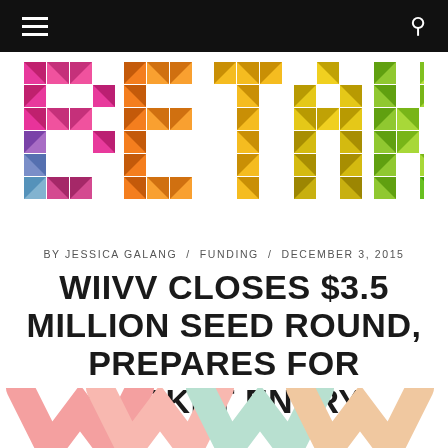Navigation bar with hamburger menu and search icon
[Figure (logo): BetaKit logo made of colorful pixel/mosaic triangles spelling 'betakit' in pink, orange, yellow, green colors on white background]
BY JESSICA GALANG / FUNDING / DECEMBER 3, 2015
WIIVV CLOSES $3.5 MILLION SEED ROUND, PREPARES FOR MARKET ENTRY
[Figure (logo): Partial Wiivv logo letters visible at bottom of page in light pastel pink, salmon, and mint/teal colors]